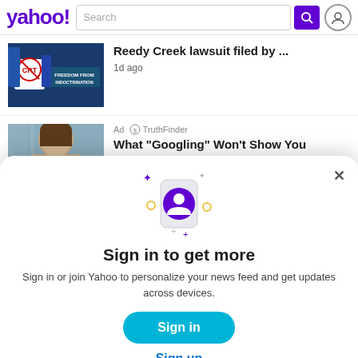[Figure (screenshot): Yahoo! header with search bar, search button, and user icon]
[Figure (photo): News thumbnail: protest sign reading FREEDOM FROM INDOCTRINATION with CRT crossed out, people in background]
Reedy Creek lawsuit filed by ...
1d ago
[Figure (photo): Ad thumbnail: close-up of a woman looking down]
Ad · TruthFinder
What "Googling" Won't Show You
[Figure (illustration): Modal sign-in prompt with phone icon showing user avatar, sparkle decorations]
Sign in to get more
Sign in or join Yahoo to personalize your news feed and get updates across devices.
Sign in
Sign up